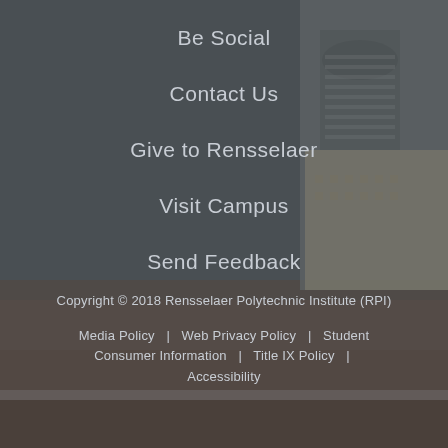[Figure (photo): Background photo of Rensselaer Polytechnic Institute building rooftop and cupola/bell tower, overlaid with dark gray semi-transparent overlay]
Be Social
Contact Us
Give to Rensselaer
Visit Campus
Send Feedback
Copyright © 2018 Rensselaer Polytechnic Institute (RPI)
Media Policy  |  Web Privacy Policy  |  Student Consumer Information  |  Title IX Policy  |  Accessibility